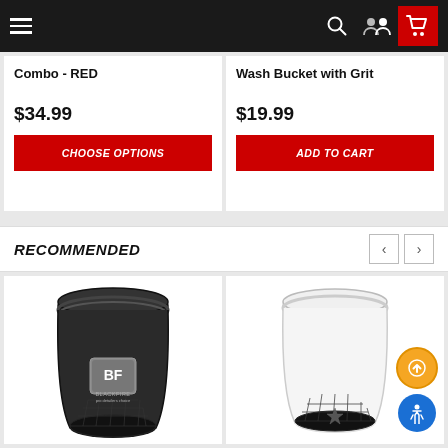Navigation bar with hamburger menu, search, account, and cart icons
Combo - RED
$34.99
CHOOSE OPTIONS
Wash Bucket with Grit
$19.99
ADD TO CART
RECOMMENDED
[Figure (photo): Black wash bucket with grit guard and BlackFire logo]
[Figure (photo): White wash bucket with grit guard]